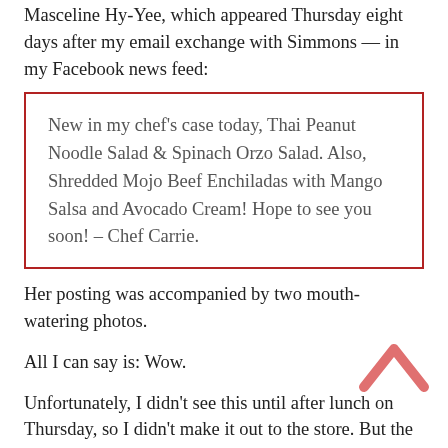Masceline Hy-Yee, which appeared Thursday eight days after my email exchange with Simmons — in my Facebook news feed:
New in my chef's case today, Thai Peanut Noodle Salad & Spinach Orzo Salad. Also, Shredded Mojo Beef Enchiladas with Mango Salsa and Avocado Cream! Hope to see you soon! – Chef Carrie.
Her posting was accompanied by two mouth-watering photos.
All I can say is: Wow.
Unfortunately, I didn't see this until after lunch on Thursday, so I didn't make it out to the store. But the next one will be following Chef Carrie's